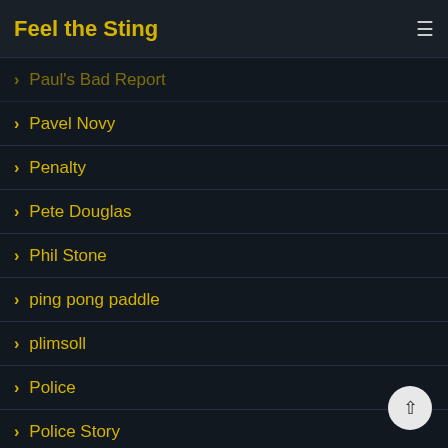Feel the Sting
Paul's Bad Report
Pavel Novy
Penalty
Pete Douglas
Phil Stone
ping pong paddle
plimsoll
Police
Police Story
Pomlazka
Posing pictures
Posters